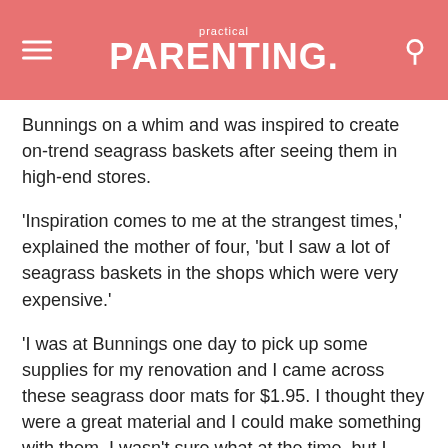practical PARENTING.
Bunnings on a whim and was inspired to create on-trend seagrass baskets after seeing them in high-end stores.
'Inspiration comes to me at the strangest times,' explained the mother of four, 'but I saw a lot of seagrass baskets in the shops which were very expensive.'
'I was at Bunnings one day to pick up some supplies for my renovation and I came across these seagrass door mats for $1.95. I thought they were a great material and I could make something with them. I wasn't sure what at the time, but I grabbed an armful and headed home,' she said.